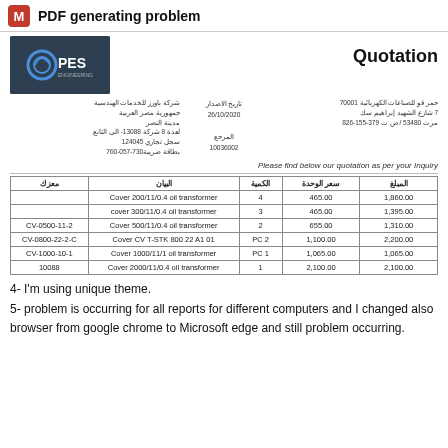PDF generating problem
[Figure (logo): PES company logo on dark background]
Quotation
شركة باورز للخدمات الهندسية جمهورية مصر العربية مدينة النصر لعدة 8 شركة 13088- الى الثانع سجل تجاري 124045 بطاقة ضريبة730-057-760
تاريخ الاصدار 26/10/2020 المرجع 10036002
حمر قو للصناعات الكهربائية 70001 7 شارع الشهيد إبراهيم سك مرت 53480 / ض ت 379-155-826
Please find below our quotation as per your Inquiry
| معزك | البيان | الكمية | سعر الوحدة | المبلغ |
| --- | --- | --- | --- | --- |
|  | Cover 200/11/0.4 oil transformer | 4 | 465.00 | 1,860.00 |
|  | cover 300/11/0.4 oil transformer | 3 | 465.00 | 1,395.00 |
| CV-0500-11-2 | Cover 500/11/0.4 oil transformer | 2 | 655.00 | 1,310.00 |
| CV-0800-22-2-C | Cover CV T-STK 800 22 A1 01 | PC 2 | 1,100.00 | 2,200.00 |
| CV-1000-10-1 | Cover 1000/11/1 oil transformer | PC 1 | 1,065.00 | 1,065.00 |
| 10088 | Cover 2000/11/0.4 oil transformer | 1 | 2,100.00 | 2,100.00 |
4- I'm using unique theme.
5- problem is occurring for all reports for different computers and I changed also browser from google chrome to Microsoft edge and still problem occurring.